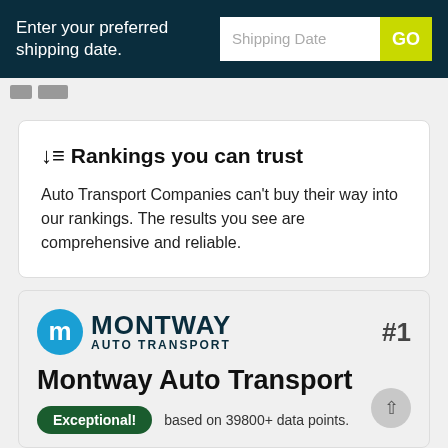Enter your preferred shipping date.
Rankings you can trust
Auto Transport Companies can't buy their way into our rankings. The results you see are comprehensive and reliable.
Montway Auto Transport #1
Montway Auto Transport
Exceptional! based on 39800+ data points.
Services